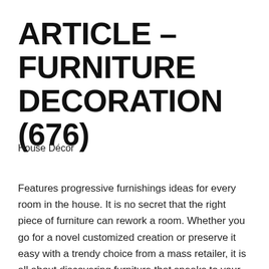ARTICLE – FURNITURE DECORATION (676)
House Décor
Features progressive furnishings ideas for every room in the house. It is no secret that the right piece of furniture can rework a room. Whether you go for a novel customized creation or preserve it easy with a trendy choice from a mass retailer, it is all about discovering furniture that speaks to your design aesthetic. When you're in want of some motivation to seek out furnishings that you'll absolutely love, we've got you lined. Fill the shape below and get